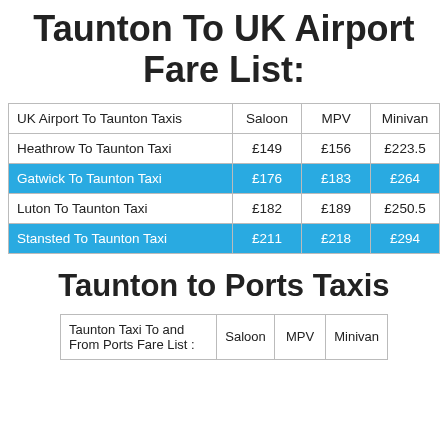Taunton To UK Airport Fare List:
| UK Airport To Taunton Taxis | Saloon | MPV | Minivan |
| --- | --- | --- | --- |
| Heathrow To Taunton Taxi | £149 | £156 | £223.5 |
| Gatwick To Taunton Taxi | £176 | £183 | £264 |
| Luton To Taunton Taxi | £182 | £189 | £250.5 |
| Stansted To Taunton Taxi | £211 | £218 | £294 |
Taunton to Ports Taxis
| Taunton Taxi To and From Ports Fare List : | Saloon | MPV | Minivan |
| --- | --- | --- | --- |